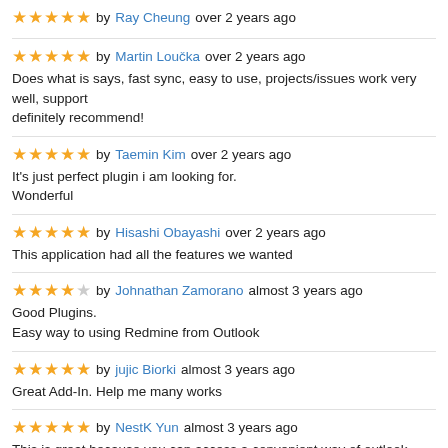★★★★★ by Ray Cheung over 2 years ago
★★★★★ by Martin Loučka over 2 years ago
Does what is says, fast sync, easy to use, projects/issues work very well, support definitely recommend!
★★★★★ by Taemin Kim over 2 years ago
It's just perfect plugin i am looking for.
Wonderful
★★★★★ by Hisashi Obayashi over 2 years ago
This application had all the features we wanted
★★★★☆ by Johnathan Zamorano almost 3 years ago
Good Plugins.
Easy way to using Redmine from Outlook
★★★★★ by jujic Biorki almost 3 years ago
Great Add-In. Help me many works
★★★★★ by NestK Yun almost 3 years ago
This is great because you can access a convenient way of outlook without touchi
★★★★★ by Dmitriy Plaschinskiy almost 3 years ago
Very useful plugin! Full Outlook and Redmine integration! Strongly recommended
★★★★★ by Bill Outte almost 3 years ago
Excellent plugin. Easy install, easy use, great productivity gain.
★★★★★ by Benoît Arnal almost 3 years ago